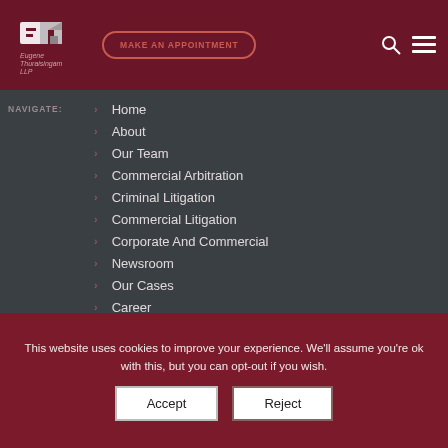Eugene Thuraisingam LLP — MAKE AN APPOINTMENT
NAVIGATE:
Home
About
Our Team
Commercial Arbitration
Criminal Litigation
Commercial Litigation
Corporate And Commercial
Newsroom
Our Cases
Career
Contact Us
This website uses cookies to improve your experience. We'll assume you're ok with this, but you can opt-out if you wish.
Accept  Reject